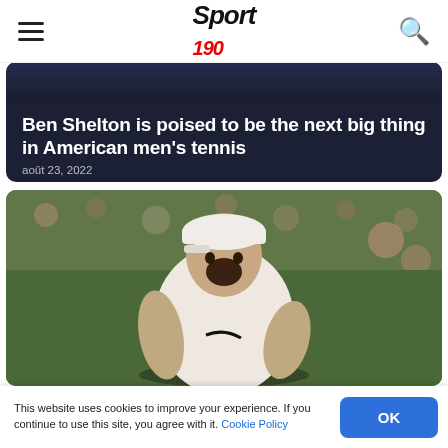Sport 190
Ben Shelton is poised to be the next big thing in American men's tennis
août 23, 2022
[Figure (photo): Tennis player Nick Kyrgios with mouth open wide in excitement, wearing white Nike shirt and white backwards cap, crowd blurred in background at Wimbledon]
This website uses cookies to improve your experience. If you continue to use this site, you agree with it. Cookie Policy